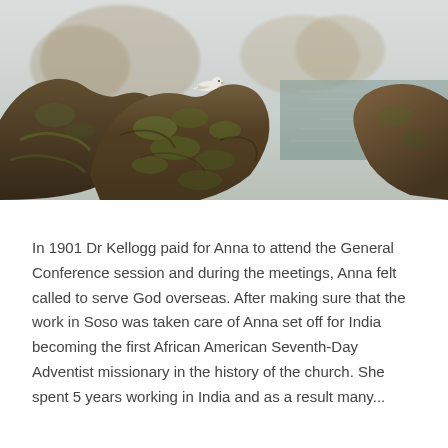[Figure (photo): A coastal photograph showing large dark rocky formations covered in seaweed and moss in the foreground, with a seagull perched on the highest rock. Misty sea cliffs and rock formations are visible in the background. The ocean is visible on the right side with a soft hazy sky. Warm golden-brown tones overall.]
In 1901 Dr Kellogg paid for Anna to attend the General Conference session and during the meetings, Anna felt called to serve God overseas. After making sure that the work in Soso was taken care of Anna set off for India becoming the first African American Seventh-Day Adventist missionary in the history of the church. She spent 5 years working in India and as a result many...